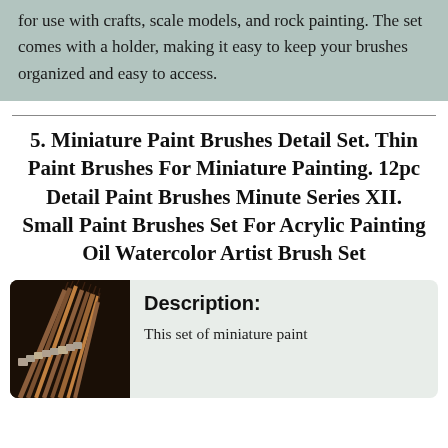for use with crafts, scale models, and rock painting. The set comes with a holder, making it easy to keep your brushes organized and easy to access.
5. Miniature Paint Brushes Detail Set. Thin Paint Brushes For Miniature Painting. 12pc Detail Paint Brushes Minute Series XII. Small Paint Brushes Set For Acrylic Painting Oil Watercolor Artist Brush Set
[Figure (photo): Photo of miniature paint brushes with thin tips, arranged in a fan/bundle, shown against a dark background]
Description:
This set of miniature paint